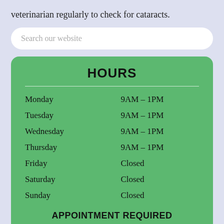veterinarian regularly to check for cataracts.
Search our website
HOURS
| Day | Hours |
| --- | --- |
| Monday | 9AM – 1PM |
| Tuesday | 9AM – 1PM |
| Wednesday | 9AM – 1PM |
| Thursday | 9AM – 1PM |
| Friday | Closed |
| Saturday | Closed |
| Sunday | Closed |
APPOINTMENT REQUIRED